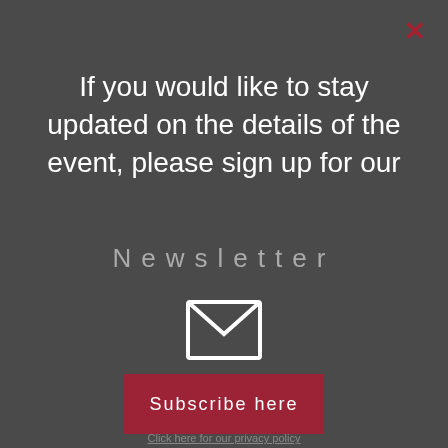×
If you would like to stay updated on the details of the event, please sign up for our
Newsletter
[Figure (illustration): White envelope/mail icon]
Subscribe here
Click here for our privacy policy